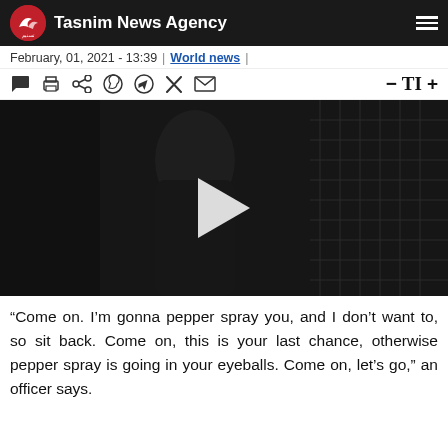Tasnim News Agency
February, 01, 2021 - 13:39 | World news |
[Figure (screenshot): Video player showing a dark scene of a police officer near a vehicle. A white play button triangle is visible in the center of the video frame.]
“Come on. I’m gonna pepper spray you, and I don’t want to, so sit back. Come on, this is your last chance, otherwise pepper spray is going in your eyeballs. Come on, let’s go,” an officer says.